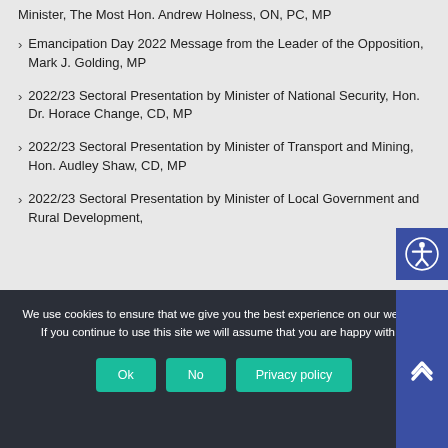Minister, The Most Hon. Andrew Holness, ON, PC, MP
Emancipation Day 2022 Message from the Leader of the Opposition, Mark J. Golding, MP
2022/23 Sectoral Presentation by Minister of National Security, Hon. Dr. Horace Change, CD, MP
2022/23 Sectoral Presentation by Minister of Transport and Mining, Hon. Audley Shaw, CD, MP
2022/23 Sectoral Presentation by Minister of Local Government and Rural Development,
We use cookies to ensure that we give you the best experience on our website. If you continue to use this site we will assume that you are happy with it.